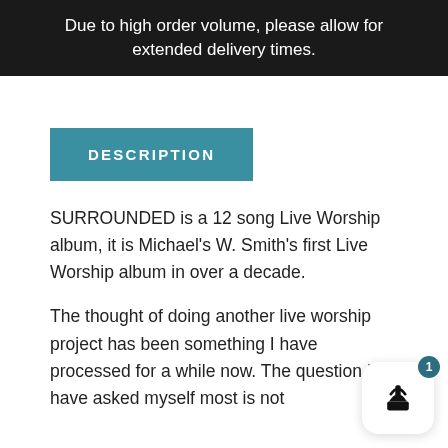Due to high order volume, please allow for extended delivery times.
DESCRIPTION
SURROUNDED is a 12 song Live Worship album, it is Michael's W. Smith's first Live Worship album in over a decade.
The thought of doing another live worship project has been something I have processed for a while now. The question I have asked myself most is not